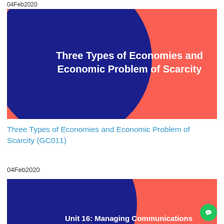04Feb2020
[Figure (illustration): Presentation slide thumbnail with coral/red background, large dark navy blue circle overlapping from top-left, white bold text reading 'Three Types of Economies and Economic Problem of Scarcity']
Three Types of Economies and Economic Problem of Scarcity (GC011)
04Feb2020
[Figure (illustration): Partially visible presentation slide thumbnail with coral/red background, large dark navy blue circle overlapping from top-left, white bold text reading 'Unit 16: Managing Communications']